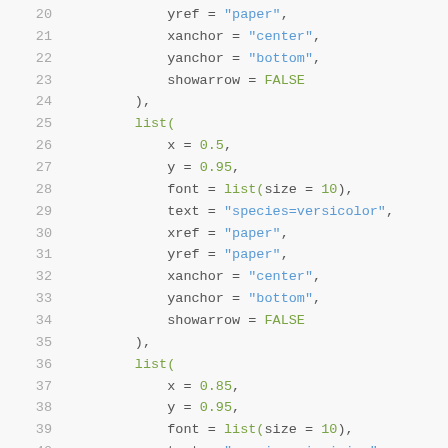Code snippet showing R plotly annotation list parameters, lines 20-40